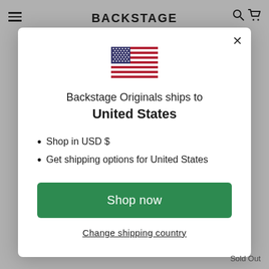BACKSTAGE
[Figure (illustration): United States flag emoji/icon]
Backstage Originals ships to United States
Shop in USD $
Get shipping options for United States
Shop now
Change shipping country
Sold Out